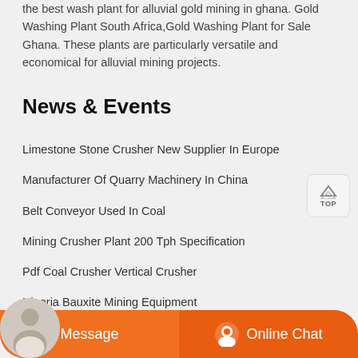the best wash plant for alluvial gold mining in ghana. Gold Washing Plant South Africa,Gold Washing Plant for Sale Ghana. These plants are particularly versatile and economical for alluvial mining projects.
News & Events
Limestone Stone Crusher New Supplier In Europe
Manufacturer Of Quarry Machinery In China
Belt Conveyor Used In Coal
Mining Crusher Plant 200 Tph Specification
Pdf Coal Crusher Vertical Crusher
Nigeria Bauxite Mining Equipment
Coal Crusher Plant Cap 500t    Russia Hammer Crusher